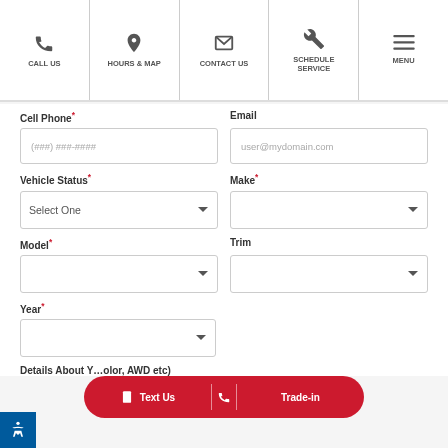CALL US | HOURS & MAP | CONTACT US | SCHEDULE SERVICE | MENU
Cell Phone *
Email
(###) ###-####
user@mydomain.com
Vehicle Status *
Make *
Select One
Model *
Trim
Year *
Details About Y… olor, AWD etc)
Text Us | Trade-in